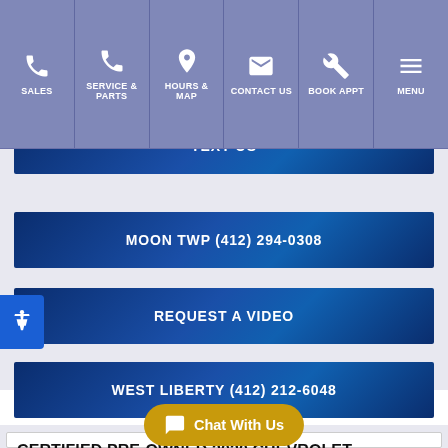SALES | SERVICE & PARTS | HOURS & MAP | CONTACT US | BOOK APPT | MENU
TEXT US
MOON TWP (412) 294-0308
REQUEST A VIDEO
WEST LIBERTY (412) 212-6048
CERTIFIED PRE-OWNED 2020 CHEVROLET TRAVERSE AWD 1LS
NO [PRICE] CE $37,688
Chat With Us